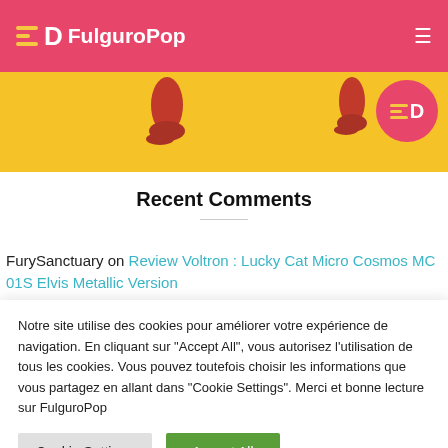FulguroPop
[Figure (screenshot): Yellow banner with two red figurine boots and a FulguroPop logo circle on the right]
Recent Comments
FurySanctuary on Review Voltron : Lucky Cat Micro Cosmos MC 01S Elvis Metallic Version
Notre site utilise des cookies pour améliorer votre expérience de navigation. En cliquant sur "Accept All", vous autorisez l'utilisation de tous les cookies. Vous pouvez toutefois choisir les informations que vous partagez en allant dans "Cookie Settings". Merci et bonne lecture sur FulguroPop
Cookie Settings | Accept All